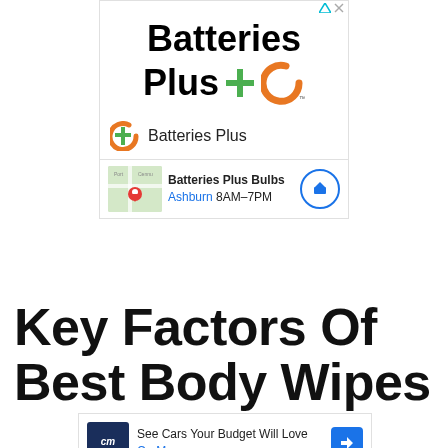[Figure (logo): Batteries Plus advertisement with logo, brand name, location info for Batteries Plus Bulbs in Ashburn 8AM-7PM]
Key Factors Of Best Body Wipes
[Figure (logo): CarMax advertisement: See Cars Your Budget Will Love, CarMax]